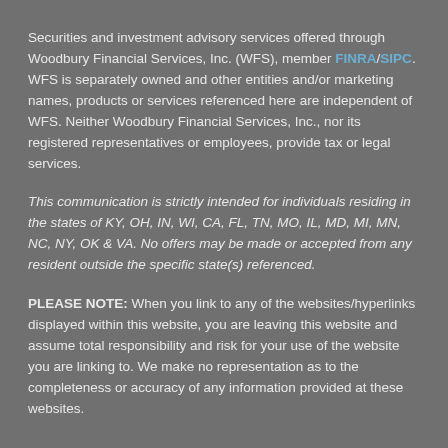Securities and investment advisory services offered through Woodbury Financial Services, Inc. (WFS), member FINRA/SIPC. WFS is separately owned and other entities and/or marketing names, products or services referenced here are independent of WFS. Neither Woodbury Financial Services, Inc., nor its registered representatives or employees, provide tax or legal services.
This communication is strictly intended for individuals residing in the states of KY, OH, IN, WI, CA, FL, TN, MO, IL, MD, MI, MN, NC, NY, OK & VA. No offers may be made or accepted from any resident outside the specific state(s) referenced.
PLEASE NOTE: When you link to any of the websites/hyperlinks displayed within this website, you are leaving this website and assume total responsibility and risk for your use of the website you are linking to. We make no representation as to the completeness or accuracy of any information provided at these websites.